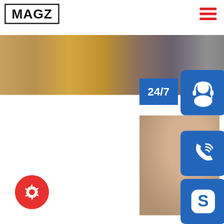MAGZ
[Figure (photo): Horizontal photo strip showing steel/shipbuilding materials in browns and grays]
Shipbuilding...
[Figure (infographic): Blue box with '24/7' text]
[Figure (illustration): Blue rounded square with white headset/customer support icon]
[Figure (photo): Customer service woman wearing headset]
[Figure (illustration): Blue rounded square with white phone/call icon with signal waves]
[Figure (illustration): Blue rounded square with white Skype 'S' logo]
PROVIDE  Empowering Cus...
online live
the high tensile strength steel.DH36 shipbuilding steel is the
[Figure (illustration): Red circle button with white gear/settings icon]